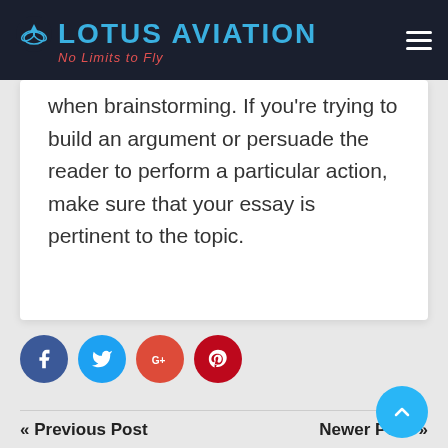LOTUS AVIATION — No Limits to Fly
when brainstorming. If you're trying to build an argument or persuade the reader to perform a particular action, make sure that your essay is pertinent to the topic.
[Figure (infographic): Social media share buttons: Facebook (dark blue circle with f icon), Twitter (light blue circle with bird icon), Google+ (red circle with G+ text), Pinterest (dark red circle with P icon)]
« Previous Post    Newer Post »